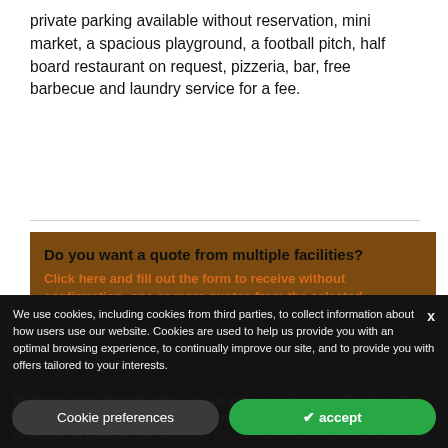private parking available without reservation, mini market, a spacious playground, a football pitch, half board restaurant on request, pizzeria, bar, free barbecue and laundry service for a fee.
Do you want a quote from multiple facilities?
Click here and fill out the form to receive without confirmation, one or more quotes from the selected facilities. No commitment required.
SEND REQUEST
We use cookies, including cookies from third parties, to collect information about how users use our website. Cookies are used to help us provide you with an optimal browsing experience, to continually improve our site, and to provide you with offers tailored to your interests.
By clicking on the "Accept" button, you are agreeing to the use of all cookies. If you close this banner, only technical and analytical cookies will be used for which your consent is not required. You can revoke your consent to all or some cookies at any time by clicking on the "Cookie Preferences" button, also accessible in the footer of the site. Detailed information on the use of cookies can be found in our privacy and cookie policy.
Cookie preferences
✓ accept
Other campings & villages in t Vene